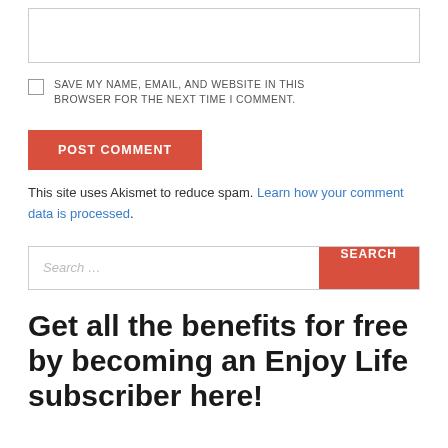[Figure (other): Textarea input box (empty)]
SAVE MY NAME, EMAIL, AND WEBSITE IN THIS BROWSER FOR THE NEXT TIME I COMMENT.
[Figure (other): POST COMMENT button (red)]
This site uses Akismet to reduce spam. Learn how your comment data is processed.
[Figure (other): Search input field with SEARCH button]
Get all the benefits for free by becoming an Enjoy Life subscriber here!